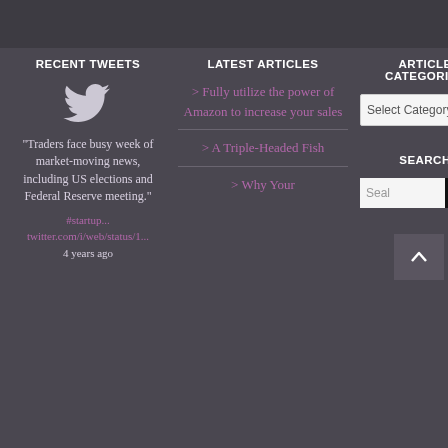RECENT TWEETS
LATEST ARTICLES
ARTICLE CATEGORIES
"Traders face busy week of market-moving news, including US elections and Federal Reserve meeting." #startup... twitter.com/i/web/status/1... 4 years ago
> Fully utilize the power of Amazon to increase your sales
> A Triple-Headed Fish
> Why Your
SEARCH